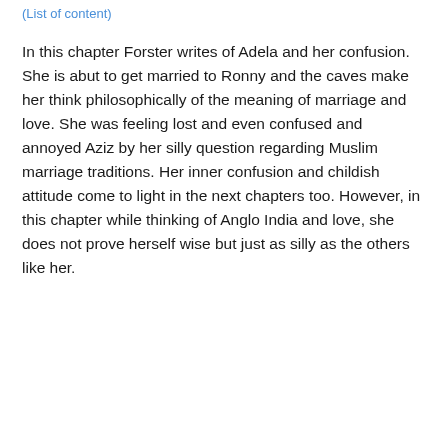(List of content)
In this chapter Forster writes of Adela and her confusion. She is abut to get married to Ronny and the caves make her think philosophically of the meaning of marriage and love. She was feeling lost and even confused and annoyed Aziz by her silly question regarding Muslim marriage traditions. Her inner confusion and childish attitude come to light in the next chapters too. However, in this chapter while thinking of Anglo India and love, she does not prove herself wise but just as silly as the others like her.